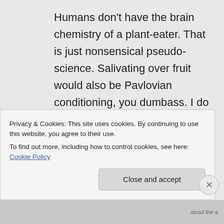Humans don't have the brain chemistry of a plant-eater. That is just nonsensical pseudo-science. Salivating over fruit would also be Pavlovian conditioning, you dumbass. I do salivate over fresh raw meat. This isn't the same as a rotting corpse by the side of the road.
Here's an interesting experiment.
Privacy & Cookies: This site uses cookies. By continuing to use this website, you agree to their use. To find out more, including how to control cookies, see here: Cookie Policy